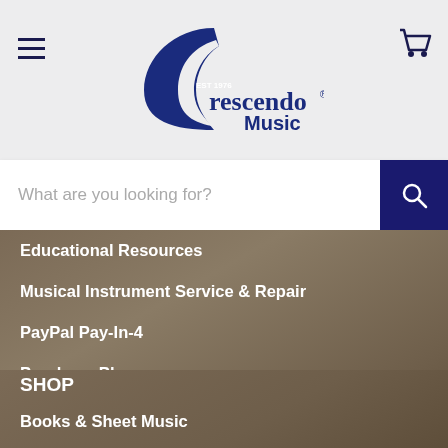Crescendo Music
[Figure (logo): Crescendo Music logo with blue crescent C and 'crescendo Music' text, EST 1976]
What are you looking for?
Educational Resources
Musical Instrument Service & Repair
PayPal Pay-In-4
Purchase Plan
Join Our Team
SHOP
Books & Sheet Music
Musical Instruments
Recording & Pro Audio